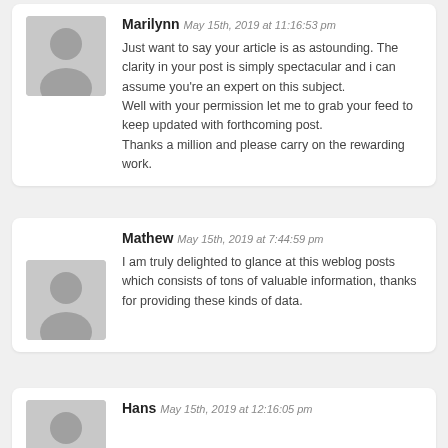[Figure (illustration): Gray avatar silhouette placeholder image for user Marilynn]
Marilynn May 15th, 2019 at 11:16:53 pm
Just want to say your article is as astounding. The clarity in your post is simply spectacular and i can assume you're an expert on this subject. Well with your permission let me to grab your feed to keep updated with forthcoming post. Thanks a million and please carry on the rewarding work.
[Figure (illustration): Gray avatar silhouette placeholder image for user Mathew]
Mathew May 15th, 2019 at 7:44:59 pm
I am truly delighted to glance at this weblog posts which consists of tons of valuable information, thanks for providing these kinds of data.
[Figure (illustration): Gray avatar silhouette placeholder image for user Hans]
Hans May 15th, 2019 at 12:16:05 pm